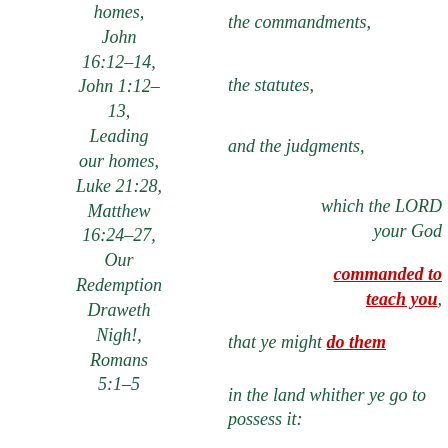homes, John 16:12-14, John 1:12-13, Leading our homes, Luke 21:28, Matthew 16:24-27, Our Redemption Draweth Nigh!, Romans 5:1-5
the commandments, the statutes, and the judgments, which the LORD your God commanded to teach you, that ye might do them in the land whither ye go to possess it: